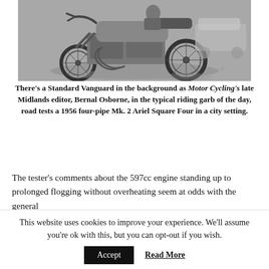[Figure (photo): Black and white photograph of a motorcycle (1956 Ariel Square Four Mk. 2 four-pipe) parked on a wet city street, with a Standard Vanguard car visible in the background. The rider is wearing typical riding garb of the day.]
There’s a Standard Vanguard in the background as Motor Cycling’s late Midlands editor, Bernal Osborne, in the typical riding garb of the day, road tests a 1956 four-pipe Mk. 2 Ariel Square Four in a city setting.
The tester’s comments about the 597cc engine standing up to prolonged flogging without overheating seem at odds with the general
This website uses cookies to improve your experience. We’ll assume you’re ok with this, but you can opt-out if you wish.